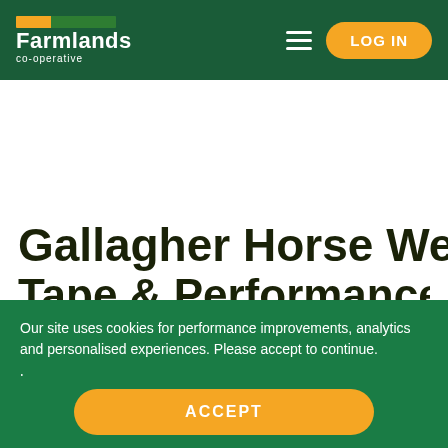Farmlands co-operative — LOG IN
Gallagher Horse Weigh
Our site uses cookies for performance improvements, analytics and personalised experiences. Please accept to continue.
Learn more
ACCEPT